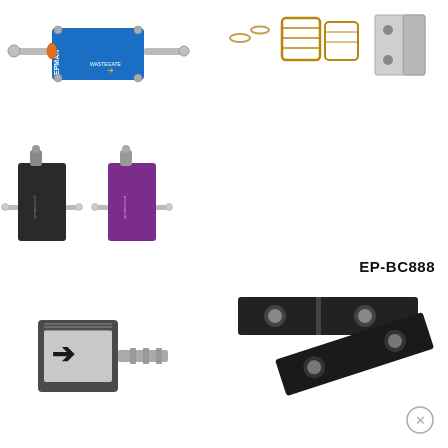[Figure (photo): Blue EPMAN wastegate boost controller with silver fittings on both sides and a label reading WASTEGATE with an arrow]
[Figure (photo): Assortment of small metal hose clamps, washers, and a metal bracket piece with holes]
[Figure (photo): Two small inline boost controllers side by side — one black, one purple — with silver fittings and knobs, branded epman boost]
EP-BC888
[Figure (photo): Small grey/black solenoid valve with a right-pointing arrow label and a barbed hose fitting on the right side]
[Figure (photo): Two black angled bracket pieces with circular holes, used as mounting hardware]